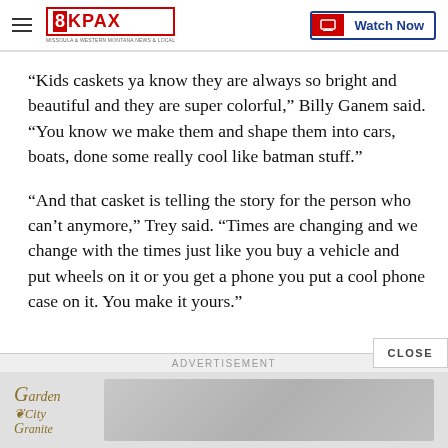8KPAX | Watch Now
“Kids caskets ya know they are always so bright and beautiful and they are super colorful,” Billy Ganem said. “You know we make them and shape them into cars, boats, done some really cool like batman stuff.”
“And that casket is telling the story for the person who can’t anymore,” Trey said. “Times are changing and we change with the times just like you buy a vehicle and put wheels on it or you get a phone you put a cool phone case on it. You make it yours.”
[Figure (other): Garden City Granite advertisement banner at the bottom of the page]